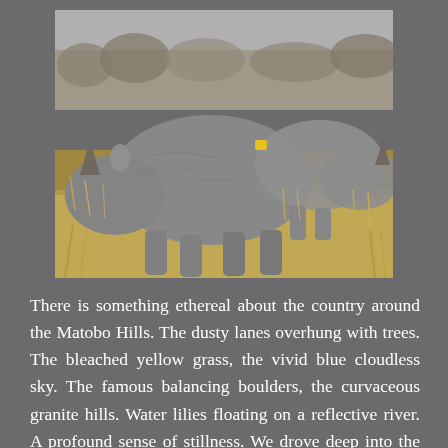[Figure (photo): Two white rhinoceroses standing together in dry savanna grassland with golden dried grass and sparse trees in the background. The rhinos are photographed from the side, one adult prominent in foreground.]
There is something ethereal about the country around the Matobo Hills. The dusty lanes overhung with trees. The bleached yellow grass, the vivid blue cloudless sky. The famous balancing boulders, the curvaceous granite hills. Water lilies floating on a reflective river. A profound sense of stillness. We drove deep into the communal lands, where joyful children ran out with fruit for sale. "You can leave what you like in the Land Rover," I...